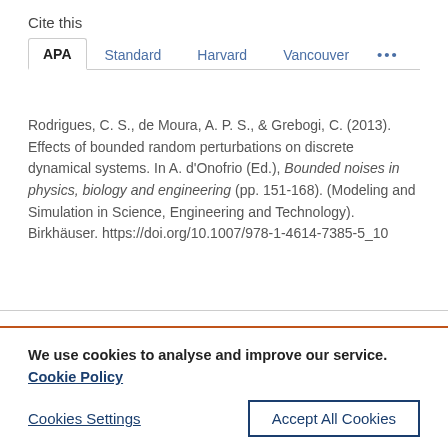Cite this
APA | Standard | Harvard | Vancouver | ...
Rodrigues, C. S., de Moura, A. P. S., & Grebogi, C. (2013). Effects of bounded random perturbations on discrete dynamical systems. In A. d'Onofrio (Ed.), Bounded noises in physics, biology and engineering (pp. 151-168). (Modeling and Simulation in Science, Engineering and Technology). Birkhäuser. https://doi.org/10.1007/978-1-4614-7385-5_10
We use cookies to analyse and improve our service. Cookie Policy
Cookies Settings
Accept All Cookies